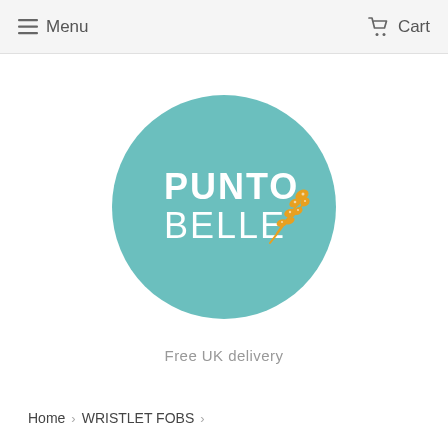Menu  Cart
[Figure (logo): Punto Belle circular teal logo with white bold text 'PUNTO BELLE' and a golden/yellow wheat or floral branch illustration]
Free UK delivery
Home › WRISTLET FOBS ›